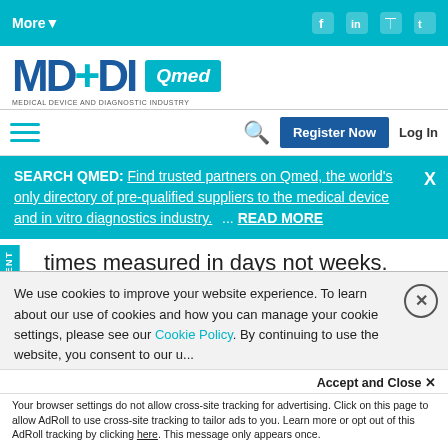More▾  [social icons: Facebook, LinkedIn, RSS, Twitter]
[Figure (logo): MD+DI Qmed logo — Medical Device and Diagnostic Industry]
[hamburger menu] [search icon] Register Now  Log In
SEARCH QMED: Find trusted partners on Qmed, the world's only directory of pre-qualified suppliers to the medical device and in vitro diagnostics industry.  ... READ MORE  X
times measured in days not weeks.
0 COMMENTS
We use cookies to improve your website experience. To learn about our use of cookies and how you can manage your cookie settings, please see our Cookie Policy. By continuing to use the website, you consent to our use...
Accept and Close ✕
Your browser settings do not allow cross-site tracking for advertising. Click on this page to allow AdRoll to use cross-site tracking to tailor ads to you. Learn more or opt out of this AdRoll tracking by clicking here. This message only appears once.